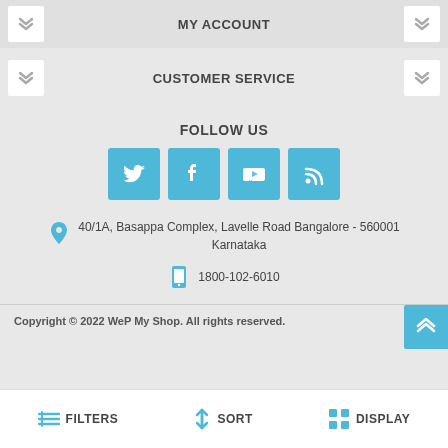MY ACCOUNT
CUSTOMER SERVICE
FOLLOW US
[Figure (infographic): Social media icons: Twitter, Facebook, YouTube, RSS feed — each in a blue square button]
40/1A, Basappa Complex, Lavelle Road Bangalore - 560001 Karnataka
1800-102-6010
Copyright © 2022 WeP My Shop. All rights reserved.
FILTERS  SORT  DISPLAY